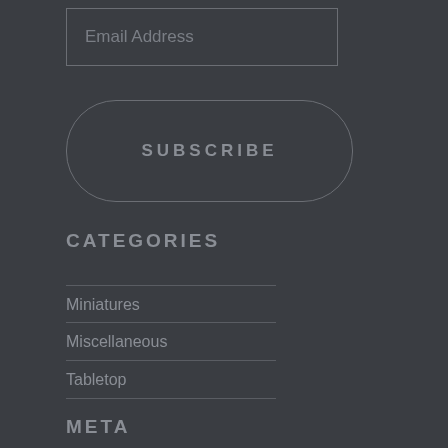Email Address
SUBSCRIBE
CATEGORIES
Miniatures
Miscellaneous
Tabletop
META